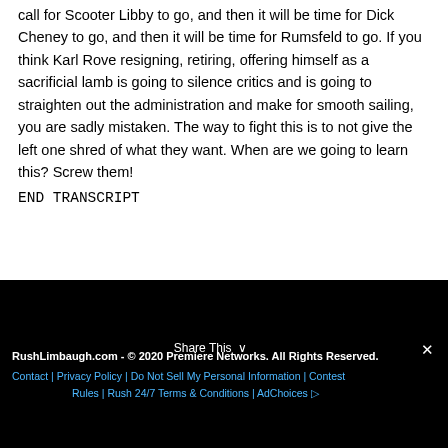call for Scooter Libby to go, and then it will be time for Dick Cheney to go, and then it will be time for Rumsfeld to go. If you think Karl Rove resigning, retiring, offering himself as a sacrificial lamb is going to silence critics and is going to straighten out the administration and make for smooth sailing, you are sadly mistaken. The way to fight this is to not give the left one shred of what they want. When are we going to learn this? Screw them! END TRANSCRIPT
RushLimbaugh.com - © 2020 Premiere Networks. All Rights Reserved. Contact | Privacy Policy | Do Not Sell My Personal Information | Contest Rules | Rush 24/7 Terms & Conditions | AdChoices